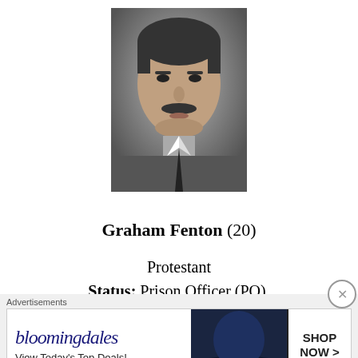[Figure (photo): Black and white photograph of Graham Fenton, a man with a mustache.]
Graham Fenton  (20)
Protestant
Status: Prison Officer (PO),
Killed by: Irish Republican Army (IRA) Off duty. Shot while in Molloy's Bar, Ballymoney, County Antrim.
[Figure (screenshot): Bloomingdales advertisement banner: 'View Today's Top Deals!' with SHOP NOW > button.]